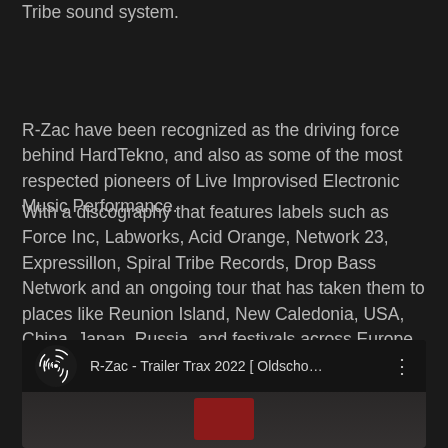Tribe sound system.
R-Zac have been recognized as the driving force behind HardTekno, and also as some of the most respected pioneers of Live Improvised Electronic Music Performance.
With a discography that features labels such as Force Inc, Labworks, Acid Orange, Network 23, Expressillon, Spiral Tribe Records, Drop Bass Network and an ongoing tour that has taken them to places like Reunion Island, New Caledonia, USA, China, Japan, Russia, and festivals across Europe including Fusion (DE), Dour (BE), and Boomtown(UK), the evidence is clear: R-Zac is, and has been an integral part of planetary culture since the mid 1990's.
[Figure (screenshot): Video player panel showing R-Zac - Trailer Trax 2022 [ Oldsch... with a spiral logo icon and three-dot menu, plus a partial thumbnail with a dark/red background]